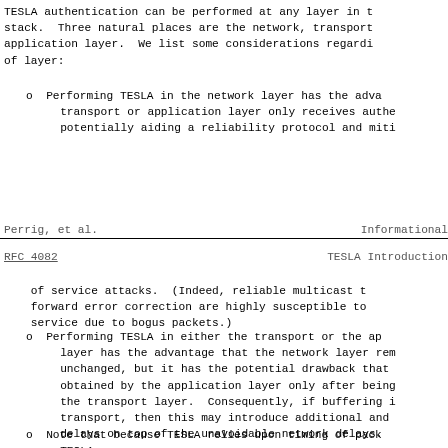TESLA authentication can be performed at any layer in the stack.  Three natural places are the network, transport, application layer.  We list some considerations regarding of layer:
o  Performing TESLA in the network layer has the advantage that the transport or application layer only receives authenticated packets, potentially aiding a reliability protocol and miti...
Perrig, et al.                    Informational
RFC 4082                     TESLA Introduction
of service attacks.  (Indeed, reliable multicast that uses forward error correction are highly susceptible to denial-of-service due to bogus packets.)
o  Performing TESLA in either the transport or the application layer has the advantage that the network layer remains unchanged, but it has the potential drawback that data is obtained by the application layer only after being buffered by the transport layer.  Consequently, if buffering is done at the transport, then this may introduce additional and unnecessary delays on top of the unavoidable network delays.
o  Note that because TESLA relies upon timing of packets, TESLA...